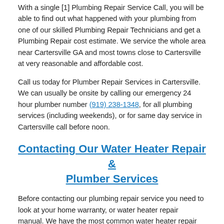With a single [1] Plumbing Repair Service Call, you will be able to find out what happened with your plumbing from one of our skilled Plumbing Repair Technicians and get a Plumbing Repair cost estimate. We service the whole area near Cartersville GA and most towns close to Cartersville at very reasonable and affordable cost.
Call us today for Plumber Repair Services in Cartersville. We can usually be onsite by calling our emergency 24 hour plumber number (919) 238-1348, for all plumbing services (including weekends), or for same day service in Cartersville call before noon.
Contacting Our Water Heater Repair & Plumber Services
Before contacting our plumbing repair service you need to look at your home warranty, or water heater repair manual. We have the most common water heater repair troubleshooting tips for our customers. The water heater repair troubleshooting tips are for the most common water heater problems, that usually mean